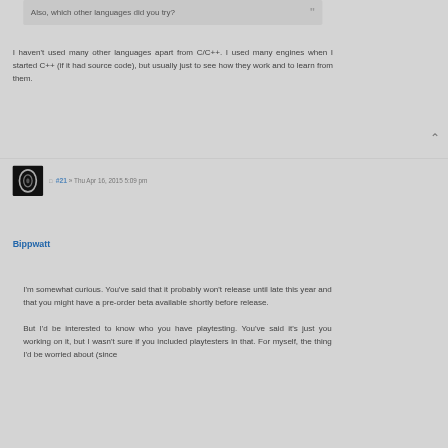Also, which other languages did you try?
I haven't used many other languages apart from C/C++. I used many engines when I started C++ (if it had source code), but usually just to see how they work and to learn from them.
#21 » Thu Apr 16, 2015 5:09 pm
Bippwatt
I'm somewhat curious. You've said that it probably won't release until late this year and that you might have a pre-order beta available shortly before release.

But I'd be interested to know who you have playtesting. You've said it's just you working on it, but I wasn't sure if you included playtesters in that. For myself, the thing I'd be worried about (since